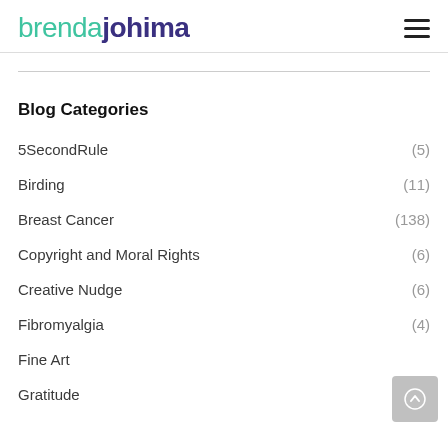brendajohima
Blog Categories
5SecondRule (5)
Birding (11)
Breast Cancer (138)
Copyright and Moral Rights (6)
Creative Nudge (6)
Fibromyalgia (4)
Fine Art
Gratitude (...)